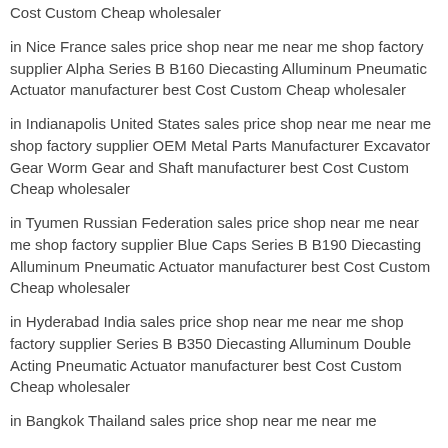Cost Custom Cheap wholesaler
in Nice France sales price shop near me near me shop factory supplier Alpha Series B B160 Diecasting Alluminum Pneumatic Actuator manufacturer best Cost Custom Cheap wholesaler
in Indianapolis United States sales price shop near me near me shop factory supplier OEM Metal Parts Manufacturer Excavator Gear Worm Gear and Shaft manufacturer best Cost Custom Cheap wholesaler
in Tyumen Russian Federation sales price shop near me near me shop factory supplier Blue Caps Series B B190 Diecasting Alluminum Pneumatic Actuator manufacturer best Cost Custom Cheap wholesaler
in Hyderabad India sales price shop near me near me shop factory supplier Series B B350 Diecasting Alluminum Double Acting Pneumatic Actuator manufacturer best Cost Custom Cheap wholesaler
in Bangkok Thailand sales price shop near me near me